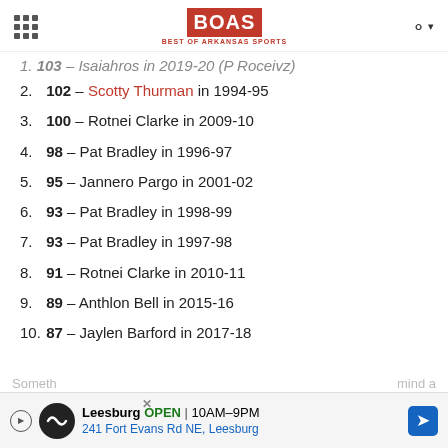BOAS Best of Arkansas Sports
1. [cut off] — [cut off] in 2019-20 (P [cut off])
2. 102 – Scotty Thurman in 1994-95
3. 100 – Rotnei Clarke in 2009-10
4. 98 – Pat Bradley in 1996-97
5. 95 – Jannero Pargo in 2001-02
6. 93 – Pat Bradley in 1998-99
7. 93 – Pat Bradley in 1997-98
8. 91 – Rotnei Clarke in 2010-11
9. 89 – Anthlon Bell in 2015-16
10. 87 – Jaylen Barford in 2017-18
Leesburg OPEN 10AM–9PM 241 Fort Evans Rd NE, Leesburg